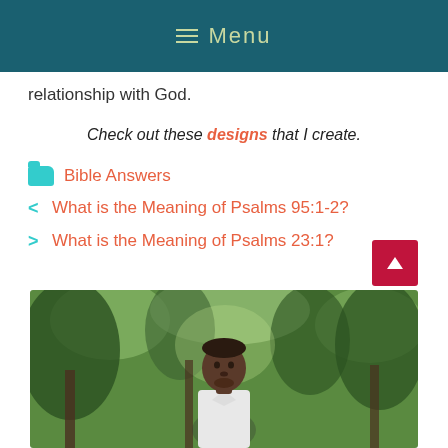≡ Menu
relationship with God.
Check out these designs that I create.
Bible Answers
< What is the Meaning of Psalms 95:1-2?
> What is the Meaning of Psalms 23:1?
[Figure (photo): A man standing outdoors in front of trees, wearing a white shirt, looking at the camera.]